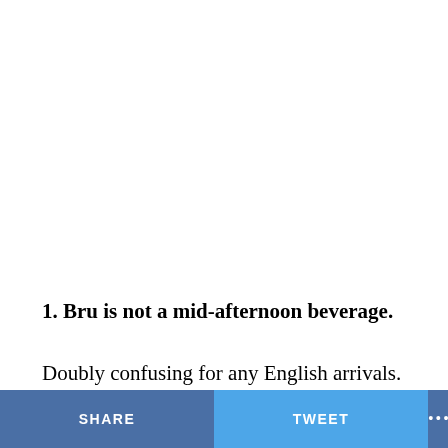1. Bru is not a mid-afternoon beverage.
Doubly confusing for any English arrivals. Not only does it raise false hope of his favourite hot drink, the overtly
SHARE   TWEET   ...